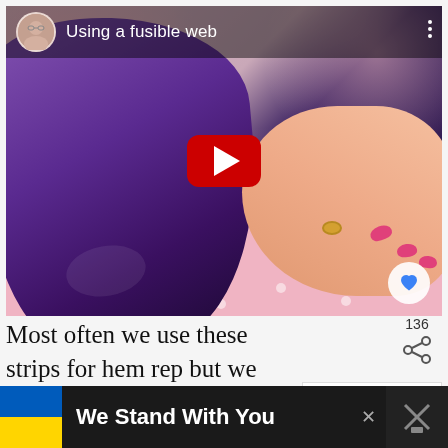[Figure (screenshot): YouTube video thumbnail showing a purple steam iron being used with fusible web tape on pink polka dot fabric, with a hand holding the tape. Video title 'Using a fusible web' shown at top with channel avatar. Red YouTube play button in center. Heart/like button in bottom right corner.]
Most often we use these strips for hem rep but we also can easily apply temporary hem tape with the steam iron before stit curved hem or for joining trims and laces.
[Figure (infographic): Share count showing 136 and a share icon]
[Figure (screenshot): WHAT'S NEXT panel showing thumbnail of pink item with text '11 ways to hem knit...']
We Stand With You